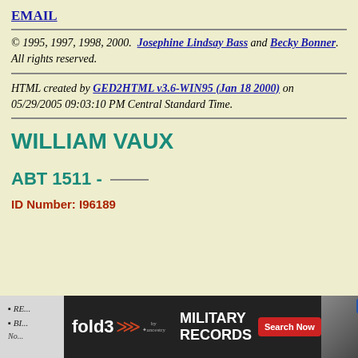EMAIL
© 1995, 1997, 1998, 2000. Josephine Lindsay Bass and Becky Bonner. All rights reserved.
HTML created by GED2HTML v3.6-WIN95 (Jan 18 2000) on 05/29/2005 09:03:10 PM Central Standard Time.
WILLIAM VAUX
ABT 1511 - ____
ID Number: I96189
[Figure (screenshot): Advertisement banner for Fold3 Military Records by Ancestry with close button and partial list items RE... and BI... visible]